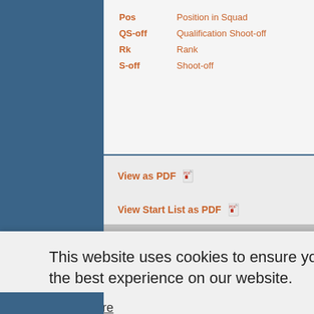Pos — Position in Squad
QS-off — Qualification Shoot-off
Rk — Rank
S-off — Shoot-off
View as PDF
View Start List as PDF
[Figure (screenshot): Website banner with shooting target and Olympic rings logos]
This website uses cookies to ensure you get the best experience on our website. Learn more Got it!